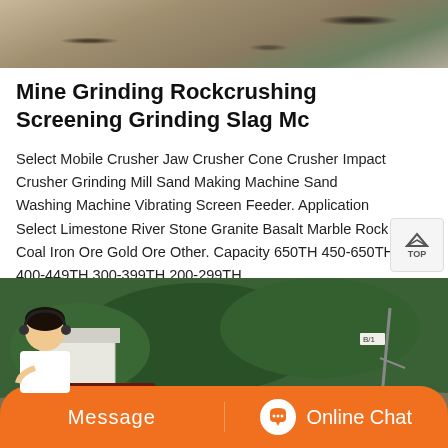[Figure (photo): Top portion of a mining/quarry site showing rock and machinery]
Mine Grinding Rockcrushing Screening Grinding Slag Mc
Select Mobile Crusher Jaw Crusher Cone Crusher Impact Crusher Grinding Mill Sand Making Machine Sand Washing Machine Vibrating Screen Feeder. Application Select Limestone River Stone Granite Basalt Marble Rock Coal Iron Ore Gold Ore Other. Capacity 650TH 450-650TH 400-449TH 300-399TH 200-299TH.
[Figure (photo): Mining site with jaw crusher equipment on a hillside with green trees in background]
Message   Online Chat